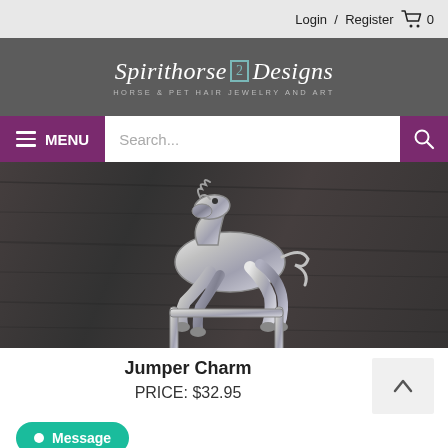Login / Register  🛒 0
[Figure (logo): Spirithorse Designs logo — Horse & Pet Hair Jewelry and Art — white italic script on dark grey background with teal accent box]
MENU  Search...  🔍
[Figure (photo): Close-up photo of a silver horse jumper charm pendant on a dark wooden background. The charm shows a horse leaping over a jump bar.]
Jumper Charm
PRICE: $32.95
Message